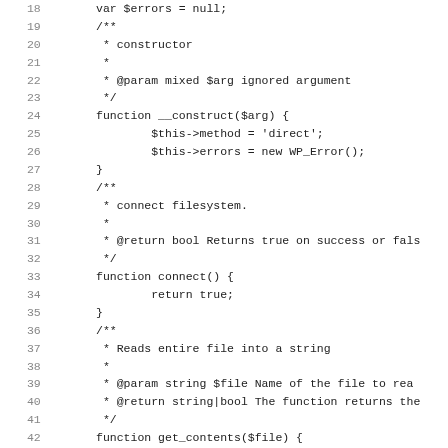Code listing showing PHP class methods: constructor, connect, get_contents, and beginning of file array reader. Lines 18-50.